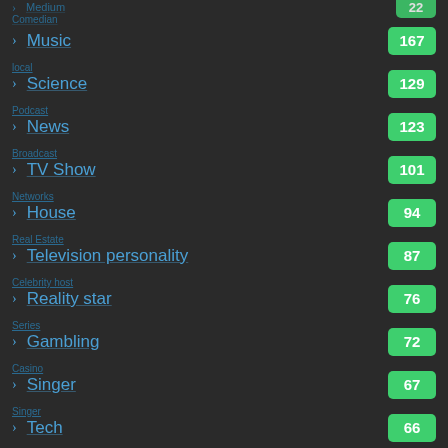Music 167
Science 129
News 123
TV Show 101
House 94
Television personality 87
Reality star 76
Gambling 72
Singer 67
Tech 66
Rappers 65
Actress 64
Actor 61
Sport 60